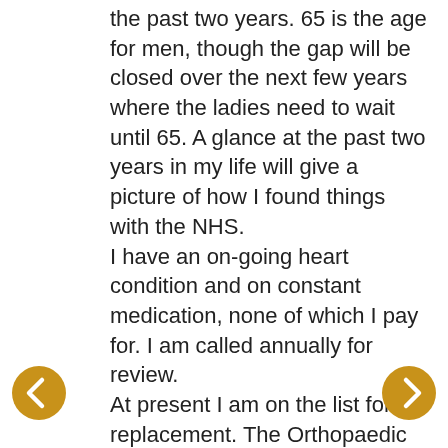the past two years. 65 is the age for men, though the gap will be closed over the next few years where the ladies need to wait until 65. A glance at the past two years in my life will give a picture of how I found things with the NHS. I have an on-going heart condition and on constant medication, none of which I pay for. I am called annually for review. At present I am on the list for hip replacement. The Orthopaedic surgeon requested a full Cardiac report so I had all the tests including Angiography. Earlier this week I went
[Figure (illustration): Left navigation arrow button - gold/amber circle with white left-pointing chevron arrow]
[Figure (illustration): Right navigation arrow button - gold/amber circle with white right-pointing chevron arrow]